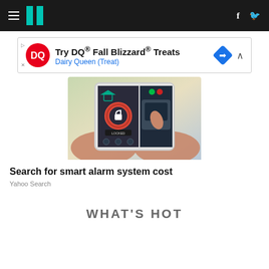HuffPost navigation bar with hamburger menu, logo, Facebook and Twitter icons
[Figure (screenshot): Dairy Queen advertisement banner: Try DQ® Fall Blizzard® Treats - Dairy Queen (Treat) with DQ logo and direction arrow diamond icon]
[Figure (photo): Hands holding a tablet displaying a smart home alarm system app with lock controls and camera view]
Search for smart alarm system cost
Yahoo Search
WHAT'S HOT